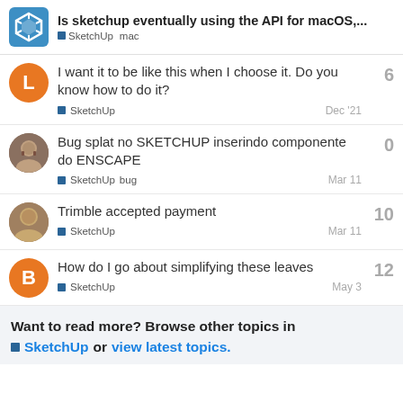Is sketchup eventually using the API for macOS,... | SketchUp  mac
I want it to be like this when I choose it. Do you know how to do it? | SketchUp | Dec '21 | 6
Bug splat no SKETCHUP inserindo componente do ENSCAPE | SketchUp  bug | Mar 11 | 0
Trimble accepted payment | SketchUp | Mar 11 | 10
How do I go about simplifying these leaves | SketchUp | May 3 | 12
Want to read more? Browse other topics in SketchUp or view latest topics.